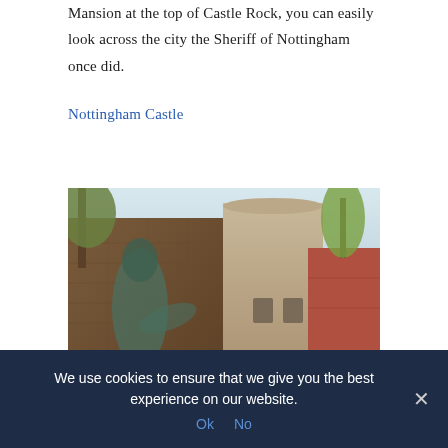Mansion at the top of Castle Rock, you can easily look across the city the Sheriff of Nottingham once did.
Nottingham Castle
[Figure (photo): Photo of Nottingham Castle showing a bronze statue in the foreground, stone/brick castle walls and a round tower in the background, with trees]
We use cookies to ensure that we give you the best experience on our website.
Ok  No